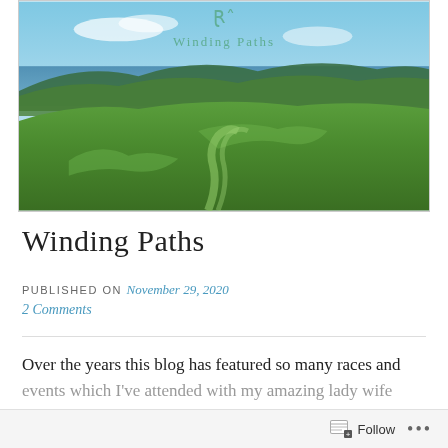[Figure (photo): Blog header image showing green rolling hills and fields with ocean and blue sky in the background. Overlay text reads a decorative logo and 'Winding Paths'.]
Winding Paths
PUBLISHED ON November 29, 2020
2 Comments
Over the years this blog has featured so many races and events which I've attended with my amazing lady wife
Follow ...